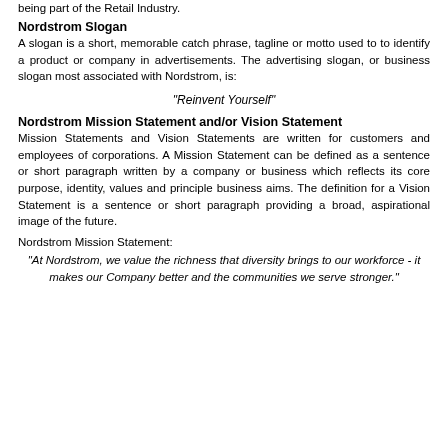being part of the Retail Industry.
Nordstrom Slogan
A slogan is a short, memorable catch phrase, tagline or motto used to to identify a product or company in advertisements. The advertising slogan, or business slogan most associated with Nordstrom, is:
"Reinvent Yourself"
Nordstrom Mission Statement and/or Vision Statement
Mission Statements and Vision Statements are written for customers and employees of corporations. A Mission Statement can be defined as a sentence or short paragraph written by a company or business which reflects its core purpose, identity, values and principle business aims. The definition for a Vision Statement is a sentence or short paragraph providing a broad, aspirational image of the future.
Nordstrom Mission Statement:
"At Nordstrom, we value the richness that diversity brings to our workforce - it makes our Company better and the communities we serve stronger."